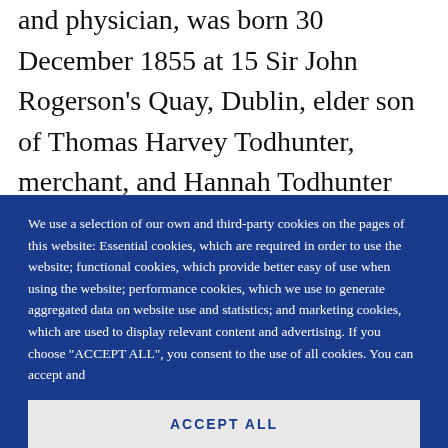and physician, was born 30 December 1855 at 15 Sir John Rogerson's Quay, Dublin, elder son of Thomas Harvey Todhunter, merchant, and Hannah Todhunter (née Harvey), a native of
We use a selection of our own and third-party cookies on the pages of this website: Essential cookies, which are required in order to use the website; functional cookies, which provide better easy of use when using the website; performance cookies, which we use to generate aggregated data on website use and statistics; and marketing cookies, which are used to display relevant content and advertising. If you choose "ACCEPT ALL", you consent to the use of all cookies. You can accept and
ACCEPT ALL